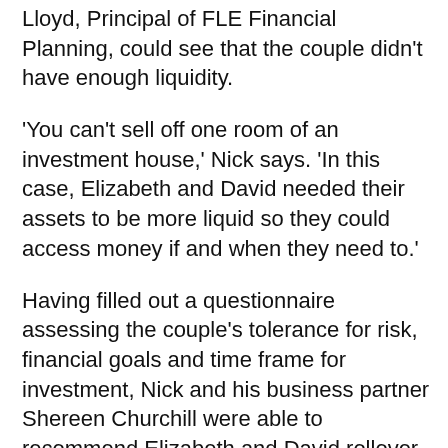Lloyd, Principal of FLE Financial Planning, could see that the couple didn't have enough liquidity.
'You can't sell off one room of an investment house,' Nick says. 'In this case, Elizabeth and David needed their assets to be more liquid so they could access money if and when they need to.'
Having filled out a questionnaire assessing the couple's tolerance for risk, financial goals and time frame for investment, Nick and his business partner Shereen Churchill were able to recommend Elizabeth and David rollover their super into a super fund that provides greater choice of assets and greater transparency over what they were invested in. Because Elizabeth